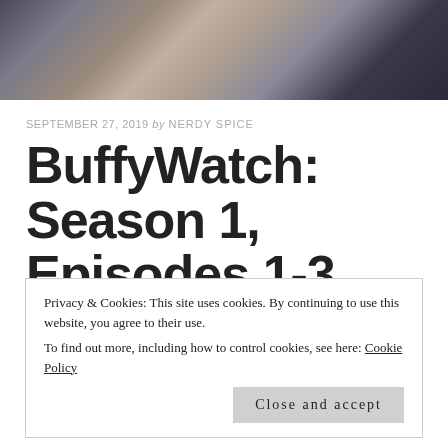[Figure (photo): Cropped photo showing lower bodies of several people standing, wearing casual clothing]
SEPTEMBER 27, 2019 by NERDY SPICE
BuffyWatch: Season 1, Episodes 1-3
≡  TV
Privacy & Cookies: This site uses cookies. By continuing to use this website, you agree to their use.
To find out more, including how to control cookies, see here: Cookie Policy
Close and accept